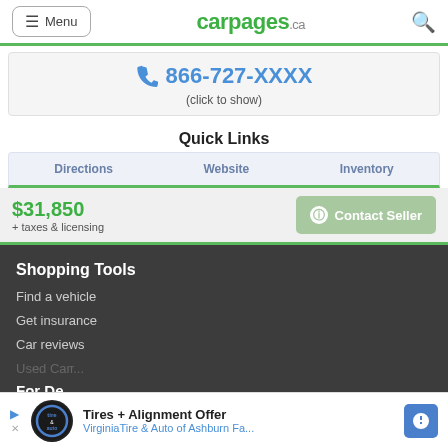Menu | carpages.ca
866-727-XXXX (click to show)
Quick Links
Directions | Website | Inventory
$31,850 + taxes & licensing
Contact Seller
Shopping Tools
Find a vehicle
Get insurance
Car reviews
Used Ca...
For De...
Tires + Alignment Offer VirginiaTire & Auto of Ashburn Fa...